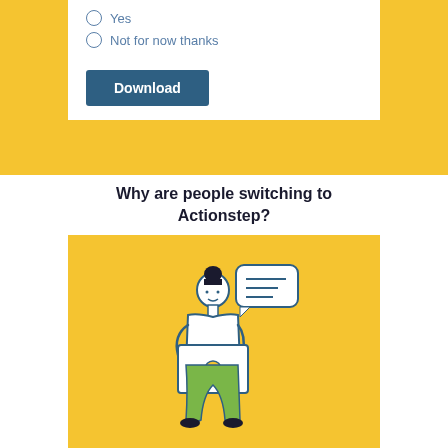Yes
Not for now thanks
Download
Why are people switching to Actionstep?
[Figure (illustration): Illustration of a woman standing and holding a laptop, with a speech bubble showing lines of text, on a yellow background]